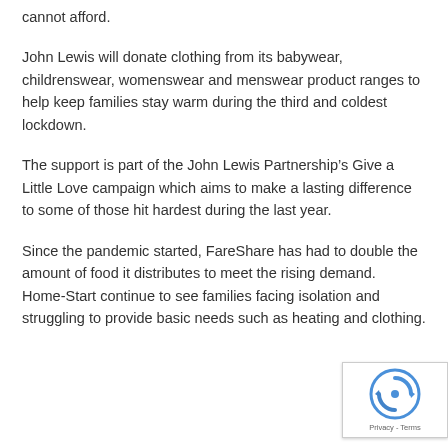cannot afford.
John Lewis will donate clothing from its babywear, childrenswear, womenswear and menswear product ranges to help keep families stay warm during the third and coldest lockdown.
The support is part of the John Lewis Partnership’s Give a Little Love campaign which aims to make a lasting difference to some of those hit hardest during the last year.
Since the pandemic started, FareShare has had to double the amount of food it distributes to meet the rising demand.  Home-Start continue to see families facing isolation and struggling to provide basic needs such as heating and clothing.
[Figure (other): reCAPTCHA badge with logo and Privacy - Terms text]